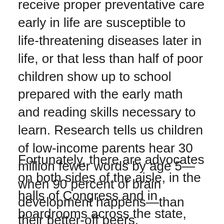receive proper preventative care early in life are susceptible to life-threatening diseases later in life, or that less than half of poor children show up to school prepared with the early math and reading skills necessary to learn. Research tells us children of low-income parents hear 30 million fewer words by age 5—when 90 percent of brain development happens—than their better-off peers.
Fortunately, there are advocates on both sides of the aisle, in the halls of Congress and in boardrooms across the state, who are dedicated to reversing this problem. They know that the future of business vibrancy depends on a